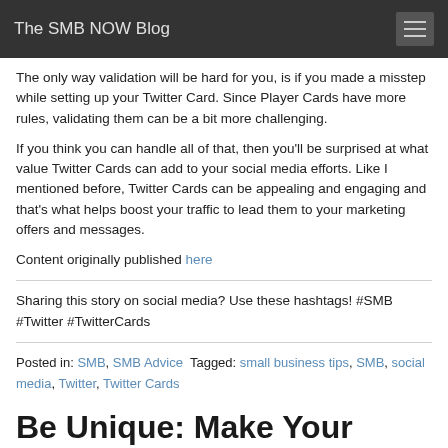The SMB NOW Blog
The only way validation will be hard for you, is if you made a misstep while setting up your Twitter Card. Since Player Cards have more rules, validating them can be a bit more challenging.
If you think you can handle all of that, then you'll be surprised at what value Twitter Cards can add to your social media efforts. Like I mentioned before, Twitter Cards can be appealing and engaging and that's what helps boost your traffic to lead them to your marketing offers and messages.
Content originally published here
Sharing this story on social media? Use these hashtags! #SMB #Twitter #TwitterCards
Posted in: SMB, SMB Advice Tagged: small business tips, SMB, social media, Twitter, Twitter Cards
Be Unique: Make Your